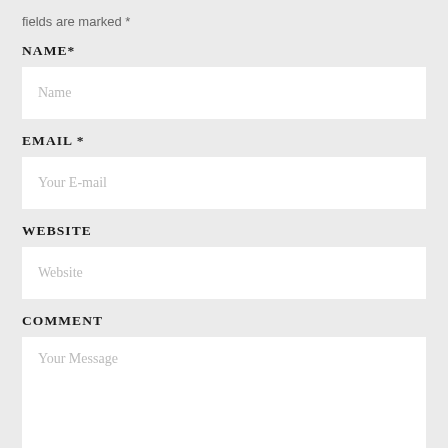fields are marked *
NAME*
[Figure (other): Text input field with placeholder 'Name']
EMAIL *
[Figure (other): Text input field with placeholder 'Your E-mail']
WEBSITE
[Figure (other): Text input field with placeholder 'Website']
COMMENT
[Figure (other): Textarea input with placeholder 'Your Message']